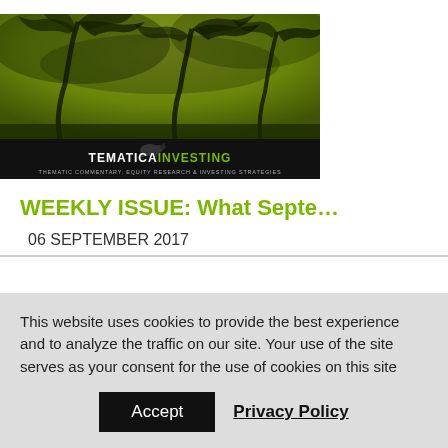[Figure (illustration): Tematica Investing banner with palm trees bending in wind against a greenish-yellow stormy sky background. Black band at bottom with TEMATICA INVESTING logo and tagline: THEMATIC COMMENTARY, EQUITY RESEARCH & INVESTING STRATEGIES.]
WEEKLY ISSUE: What Septe...
06 SEPTEMBER 2017
This website uses cookies to provide the best experience and to analyze the traffic on our site. Your use of the site serves as your consent for the use of cookies on this site
Accept   Privacy Policy